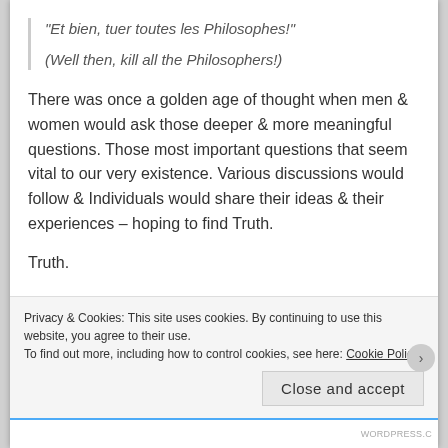“Et bien, tuer toutes les Philosophes!”

(Well then, kill all the Philosophers!)
There was once a golden age of thought when men & women would ask those deeper & more meaningful questions. Those most important questions that seem vital to our very existence.  Various discussions would follow & Individuals would share their ideas & their experiences – hoping to find Truth.
Truth.
That is what it is all about in the end.
Privacy & Cookies: This site uses cookies. By continuing to use this website, you agree to their use.
To find out more, including how to control cookies, see here: Cookie Policy